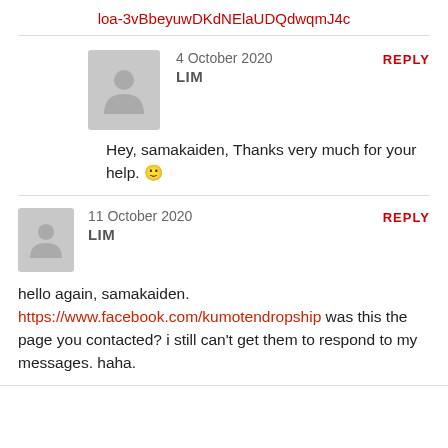loa-3vBbeyuwDKdNElaUDQdwqmJ4c
4 October 2020
LIM
REPLY
Hey, samakaiden, Thanks very much for your help. 🙂
11 October 2020
LIM
REPLY
hello again, samakaiden.
https://www.facebook.com/kumotendropship was this the page you contacted? i still can't get them to respond to my messages. haha.